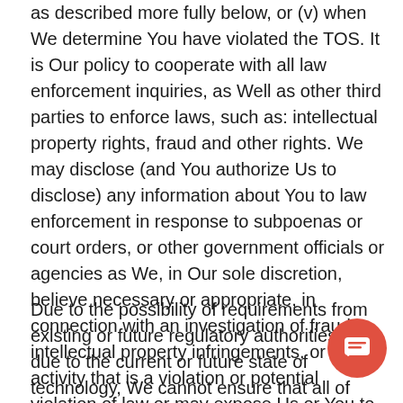as described more fully below, or (v) when We determine You have violated the TOS.  It is Our policy to cooperate with all law enforcement inquiries, as Well as other third parties to enforce laws, such as:  intellectual property rights, fraud and other rights.  We may disclose (and You authorize Us to disclose) any information about You to law enforcement in response to subpoenas or court orders, or other government officials or agencies as We, in Our sole discretion, believe necessary or appropriate, in connection with an investigation of fraud, intellectual property infringements, or other activity that is a violation or potential violation of law or may expose Us or You to legal liability.
Due to the possibility of requirements from existing or future regulatory authorities or due to the current or future state of technology, We cannot ensure that all of Your private communications and other personally identifiable information will never be disclosed in ways not otherwise described in this Policy.  For purposes of illustration only, third parties may unlawfully intercept or access transmissions or private communications, or users may abuse or misuse Your information
[Figure (other): Orange/red circular chat button with speech bubble icon in bottom right corner]